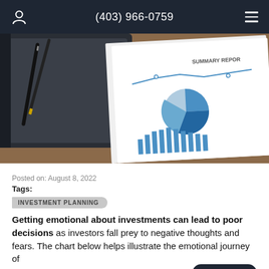(403) 966-0759
[Figure (photo): Photo of a notebook with pens resting on financial report documents showing charts including a pie chart, bar chart, and line graph with 'SUMMARY REPORT' visible]
Posted on: August 8, 2022
Tags:
INVESTMENT PLANNING
Getting emotional about investments can lead to poor decisions as investors fall prey to negative thoughts and fears. The chart below helps illustrate the emotional journey of...